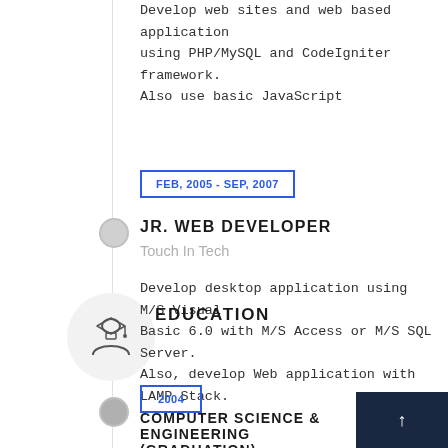Develop web sites and web based application using PHP/MySQL and CodeIgniter framework. Also use basic JavaScript
FEB, 2005 - SEP, 2007
JR. WEB DEVELOPER
Touch In Tech
Develop desktop application using M/S Visual Basic 6.0 with M/S Access or M/S SQL Server. Also, develop Web application with LAMP Stack.
EDUCATION
2004
COMPUTER SCIENCE & ENGINEERING (GRADUATION)